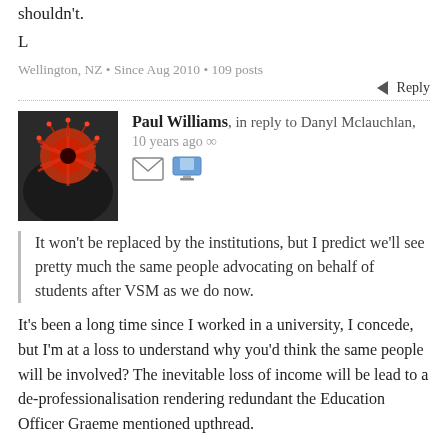shouldn't.
L
Wellington, NZ • Since Aug 2010 • 109 posts
↩ Reply
Paul Williams, in reply to Danyl Mclauchlan, 10 years ago ∞
It won't be replaced by the institutions, but I predict we'll see pretty much the same people advocating on behalf of students after VSM as we do now.
It's been a long time since I worked in a university, I concede, but I'm at a loss to understand why you'd think the same people will be involved? The inevitable loss of income will be lead to a de-professionalisation rendering redundant the Education Officer Graeme mentioned upthread.
Do you mean the elected representatives?
When Waikato went voluntary in, I think, 1996, it